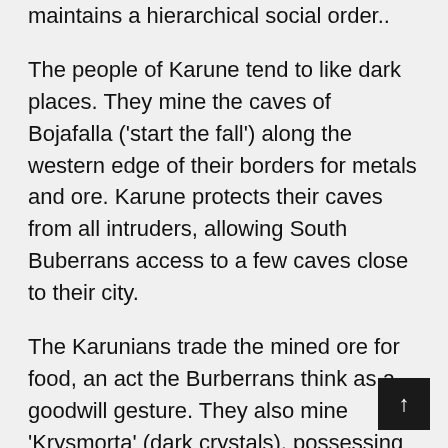maintains a hierarchical social order..
The people of Karune tend to like dark places. They mine the caves of Bojafalla ('start the fall') along the western edge of their borders for metals and ore. Karune protects their caves from all intruders, allowing South Buberrans access to a few caves close to their city.
The Karunians trade the mined ore for food, an act the Burberrans think as a goodwill gesture. They also mine 'Krysmorta' (dark crystals), possessing an unknown power.  They trained Buberrans to fashion them as jewelry. Exported to Leiz, these dark crystals are making their way throughout the lands.